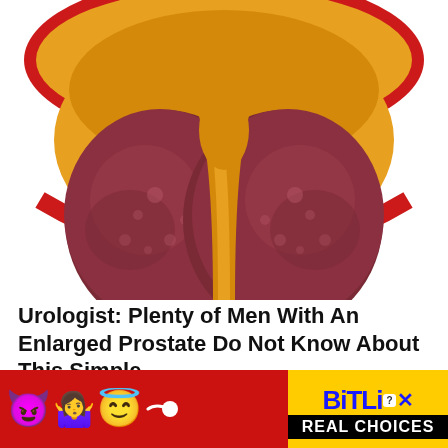[Figure (illustration): Medical 3D illustration of an enlarged prostate gland viewed from above, showing two dark reddish-brown lobes with a yellow-golden surrounding tissue and a red outer ring structure.]
Urologist: Plenty of Men With An Enlarged Prostate Do Not Know About This Simple...
GorillaSecret.com
[Figure (infographic): Advertisement banner for BitLife game on a red background. Shows emoji icons (purple devil, woman shrugging, angel face, sperm), BitLife logo in yellow with blue text, and 'REAL CHOICES' text in white on black. Has close (x) and help (?) buttons.]